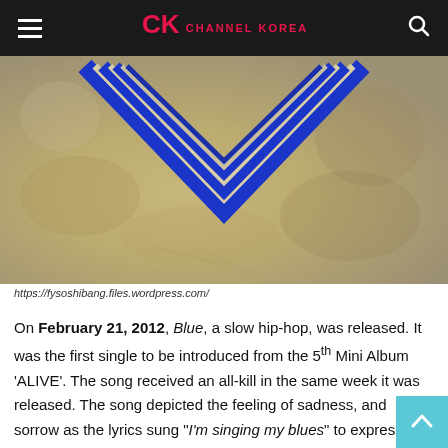Channel Korea
[Figure (photo): Close-up of a blue geometric chevron/V-shape logo on a textured beige/gold surface, showing the top portion of what appears to be a K-pop album cover (BIGBANG ALIVE album art).]
https://fysoshibang.files.wordpress.com/
On February 21, 2012, Blue, a slow hip-hop, was released. It was the first single to be introduced from the 5th Mini Album 'ALIVE'. The song received an all-kill in the same week it was released. The song depicted the feeling of sadness, and sorrow as the lyrics sung "I'm singing my blues" to express the